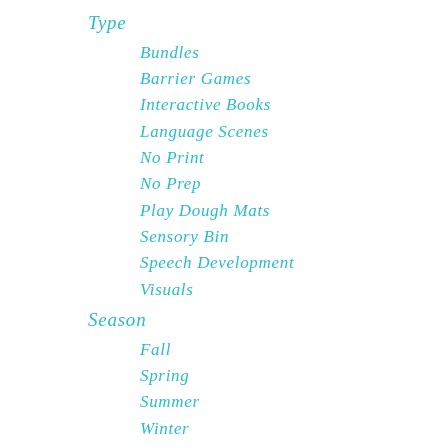Type
Bundles
Barrier Games
Interactive Books
Language Scenes
No Print
No Prep
Play Dough Mats
Sensory Bin
Speech Development
Visuals
Season
Fall
Spring
Summer
Winter
Holiday
Back to School
Christmas